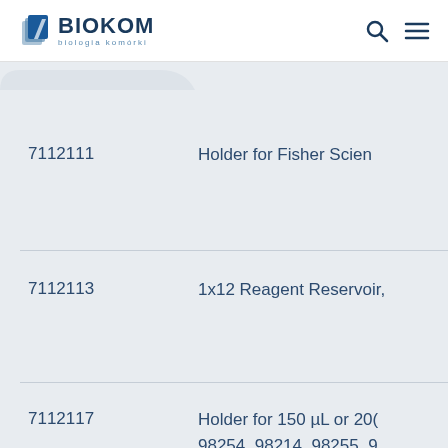BIOKOM biologia komórki
| Code | Description |
| --- | --- |
| 7112111 | Holder for Fisher Scien |
| 7112113 | 1x12 Reagent Reservoir, |
| 7112117 | Holder for 150 µL or 200 98254, 98214, 98255, 9 98218, 98191, 98188, 98: Reservoirs (P/N 7112113 |